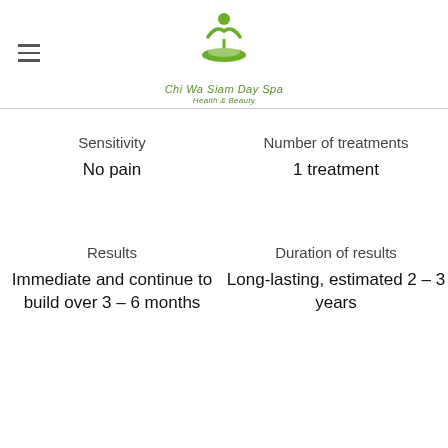[Figure (logo): Chi Wa Siam Day Spa logo: green figure with arms raised above a green oval bowl shape, with text 'Chi Wa Siam Day Spa' and 'Health & Beauty' below in green italic]
Sensitivity
Number of treatments
No pain
1 treatment
Results
Duration of results
Immediate and continue to build over 3 – 6 months
Long-lasting, estimated 2 – 3 years